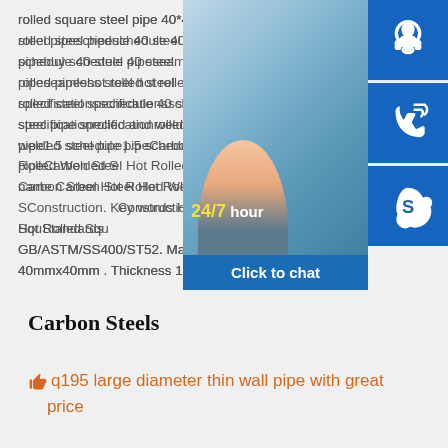rolled square steel pipe 40*40hot rolled steel pipeschedule 40 steel pipebuy schedule 40 steel pipeseamless steel hot rolled pipeshot rolled steel specificationsschedule 40 steel pipe specificationrolled and welded steel pipe1.5 schedule pipeCarbon Steel Hot Rolled Welded Square Pipe Product name Carbon Steel Hot Rolled Welded Square Pipe Application Construction. Key words Hot Rolled Square Steel Pipe Standards GB/ASTM/SS400/ST52. Material 40mmx40mm . Thickness 1.2mm
[Figure (photo): Customer service photo with 24/7 hour label and chat icons (headset, phone, Skype) and Click to chat button]
Carbon Steels
q195 large diameter thin wall pipe with great price